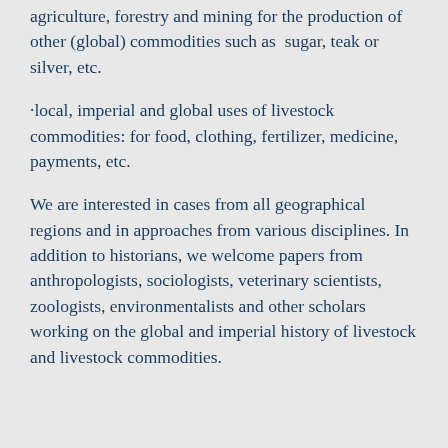agriculture, forestry and mining for the production of other (global) commodities such as  sugar, teak or silver, etc.
·local, imperial and global uses of livestock commodities: for food, clothing, fertilizer, medicine, payments, etc.
We are interested in cases from all geographical regions and in approaches from various disciplines. In addition to historians, we welcome papers from anthropologists, sociologists, veterinary scientists, zoologists, environmentalists and other scholars working on the global and imperial history of livestock and livestock commodities.